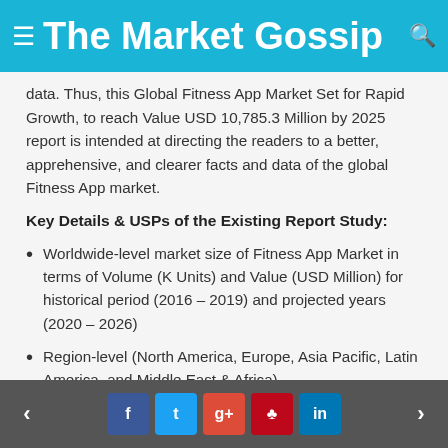≡ The Market Gossip 🔍
data. Thus, this Global Fitness App Market Set for Rapid Growth, to reach Value USD 10,785.3 Million by 2025 report is intended at directing the readers to a better, apprehensive, and clearer facts and data of the global Fitness App market.
Key Details & USPs of the Existing Report Study:
Worldwide-level market size of Fitness App Market in terms of Volume (K Units) and Value (USD Million) for historical period (2016 – 2019) and projected years (2020 – 2026)
Region-level (North America, Europe, Asia Pacific, Latin America, and Middle East & Africa)